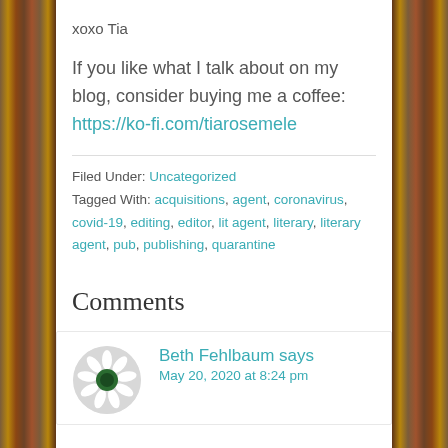xoxo Tia
If you like what I talk about on my blog, consider buying me a coffee: https://ko-fi.com/tiarosemele
Filed Under: Uncategorized
Tagged With: acquisitions, agent, coronavirus, covid-19, editing, editor, lit agent, literary, literary agent, pub, publishing, quarantine
Comments
Beth Fehlbaum says
May 20, 2020 at 8:24 pm